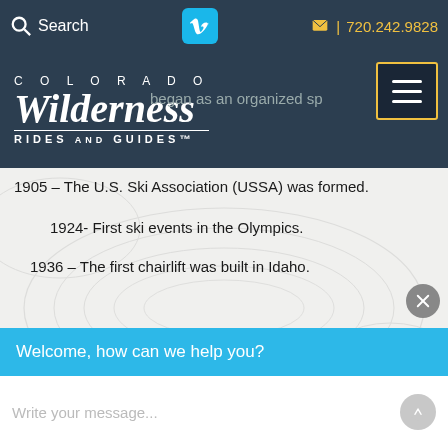Search | V | 720.242.9828
[Figure (logo): Colorado Wilderness Rides and Guides logo with COLORADO text, Wilderness script, and RIDES AND GUIDES tagline on dark navy background]
1905 – The U.S. Ski Association (USSA) was formed.
1924- First ski events in the Olympics.
1936 – The first chairlift was built in Idaho.
1940- The first big ski resort in Colorado was established
1952 –
[Figure (screenshot): Live chat widget overlay with sky-blue header saying 'Welcome, how can we help you?' and a message input field with placeholder 'Write your message...' and a send button. A close (X) button appears in the upper right of the chat widget.]